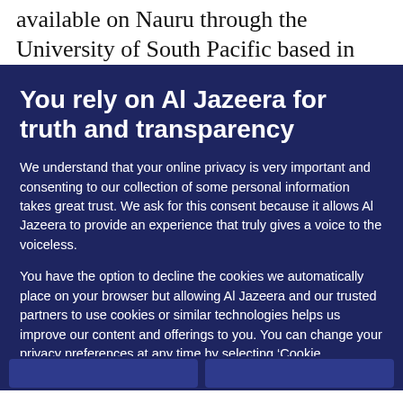available on Nauru through the University of South Pacific based in Fiji, but the lack of proper
You rely on Al Jazeera for truth and transparency
We understand that your online privacy is very important and consenting to our collection of some personal information takes great trust. We ask for this consent because it allows Al Jazeera to provide an experience that truly gives a voice to the voiceless.
You have the option to decline the cookies we automatically place on your browser but allowing Al Jazeera and our trusted partners to use cookies or similar technologies helps us improve our content and offerings to you. You can change your privacy preferences at any time by selecting ‘Cookie preferences’ at the bottom of your screen. To learn more, please view our Cookie Policy.